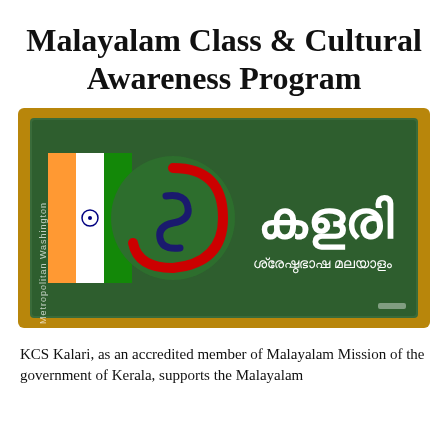Malayalam Class & Cultural Awareness Program
[Figure (logo): KCS Kalari logo on a green chalkboard background with wooden frame. Shows the KCS logo with Indian flag-colored stripes (green, white, orange) and a circular emblem, alongside Malayalam text 'കളരി' (Kalari) in large white letters and 'ശ്രേഷ്ഠഭാഷ മലയാളം' below it. 'Metropolitan Washington' text appears vertically on the left side.]
KCS Kalari, as an accredited member of Malayalam Mission of the government of Kerala, supports the Malayalam